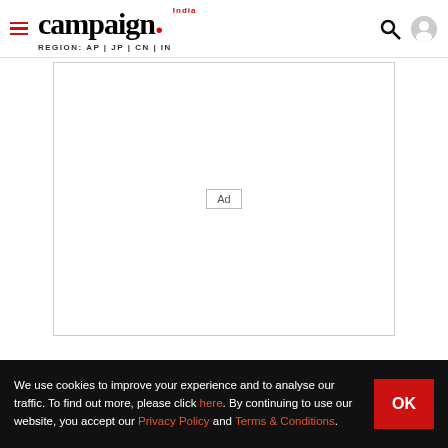campaign India — REGION: AP | JP | CN | IN
[Figure (other): Advertisement placeholder box with 'Ad' label in center]
Most Read
We use cookies to improve your experience and to analyse our traffic. To find out more, please click here. By continuing to use our website, you accept our Privacy Policy and Terms & Conditions.